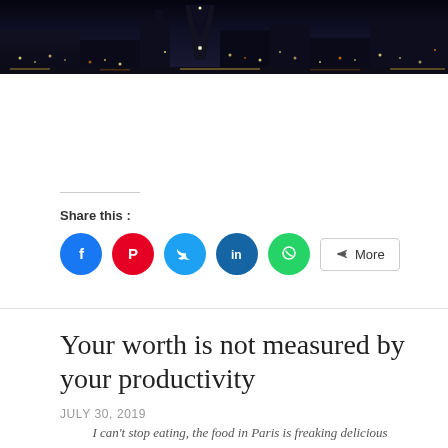[Figure (photo): Night cityscape photo showing illuminated city lights, possibly Paris with the Eiffel Tower silhouette visible, cropped at top of page]
Share this :
[Figure (infographic): Social share buttons: Facebook (blue circle), Pinterest (red circle), Twitter (light blue circle), LinkedIn (dark blue circle), WhatsApp (green circle), and a More button with share icon]
Your worth is not measured by your productivity
JULY 30, 2019
I can't stop eating, the food in Paris is freaking delicious